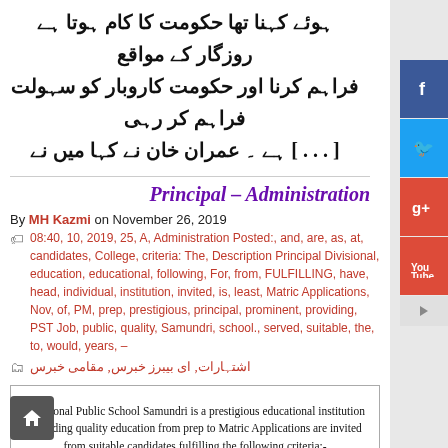ہوئے کہنا تھا حکومت کا کام ہوتا ہے روزگار کے مواقع فراہم کرنا اور حکومت کاروبار کو سہولت فراہم کر رہی [...] ہے ۔ عمران خان نے کہا میں نے
Principal – Administration
By MH Kazmi on November 26, 2019
08:40, 10, 2019, 25, A, Administration Posted:, and, are, as, at, candidates, College, criteria: The, Description Principal Divisional, education, educational, following, For, from, FULFILLING, have, head, individual, institution, invited, is, least, Matric Applications, Nov, of, PM, prep, prestigious, principal, prominent, providing, PST Job, public, quality, Samundri, school., served, suitable, the, to, would, years, –
اشتہارات, ای بیبرز خبرس, مقامی خبرس
Divisional Public School Samundri is a prestigious educational institution providing quality education from prep to Matric Applications are invited from suitable candidates fulfilling the following criteria:-